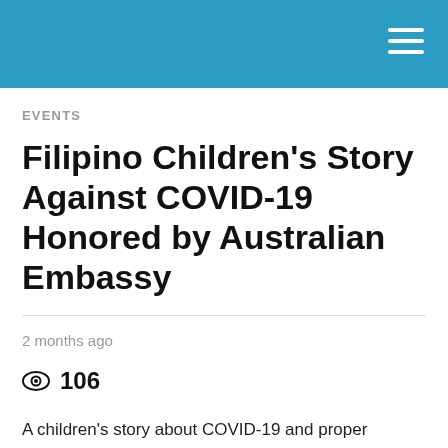EVENTS
Filipino Children's Story Against COVID-19 Honored by Australian Embassy
2 months ago
106
A children's story about COVID-19 and proper handwashing has been lauded by the Australian